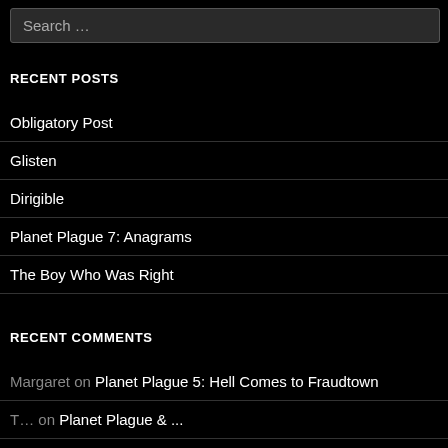Search …
RECENT POSTS
Obligatory Post
Glisten
Dirigible
Planet Plague 7: Anagrams
The Boy Who Was Right
RECENT COMMENTS
Margaret on Planet Plague 5: Hell Comes to Fraudtown